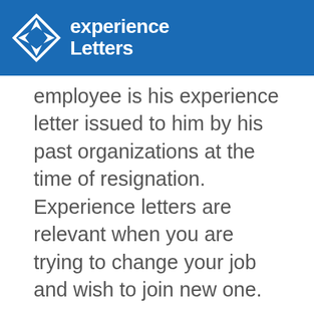experience Letters
employee is his experience letter issued to him by his past organizations at the time of resignation. Experience letters are relevant when you are trying to change your job and wish to join new one.
Read More